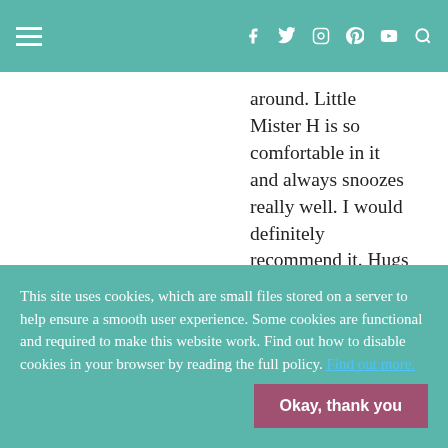≡  f  twitter  instagram  pinterest  youtube  search
around. Little Mister H is so comfortable in it and always snoozes really well. I would definitely recommend it. Hugs Lucy xxxx
KERRY NORRIS
This site uses cookies, which are small files stored on a server to help ensure a smooth user experience. Some cookies are functional and required to make this website work. Find out how to disable cookies in your browser by reading the full policy. Find out more.